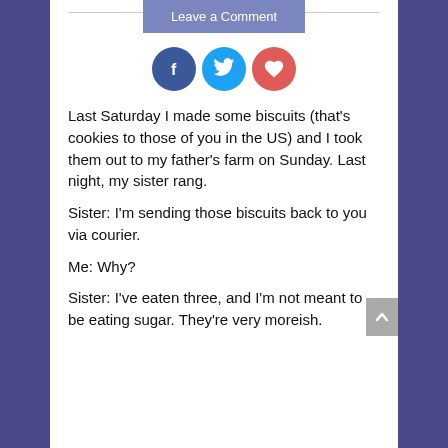Leave a Comment
[Figure (infographic): Three social media icon circles: Facebook (dark blue, 'f'), Twitter (light blue, bird icon), and a heart icon (red/coral).]
Last Saturday I made some biscuits (that's cookies to those of you in the US) and I took them out to my father's farm on Sunday. Last night, my sister rang.
Sister: I'm sending those biscuits back to you via courier.
Me: Why?
Sister: I've eaten three, and I'm not meant to be eating sugar. They're very moreish.